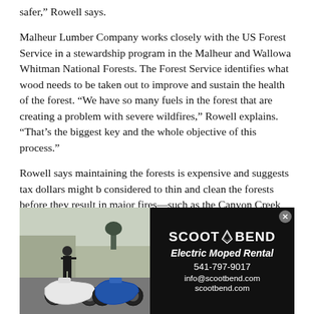safer,” Rowell says.
Malheur Lumber Company works closely with the US Forest Service in a stewardship program in the Malheur and Wallowa Whitman National Forests. The Forest Service identifies what wood needs to be taken out to improve and sustain the health of the forest. “We have so many fuels in the forest that are creating a problem with severe wildfires,” Rowell explains. “That’s the biggest key and the whole objective of this process.”
Rowell says maintaining the forests is expensive and suggests tax dollars might b considered to thin and clean the forests before they result in major fires—such as the Canyon Creek fire in August 2015, one of the most devastating fire in Oregon history. Along with slim fire-fighting resources, heavy debris
[Figure (advertisement): Advertisement for Scoot Bend Electric Moped Rental. Left side shows a photo of two electric scooters/mopeds with a person standing beside them in an outdoor setting. Right side has a black background with white text: SCOOT·BEND logo with an arrow/tent icon, Electric Moped Rental, 541-797-9017, info@scootbend.com, scootbend.com]